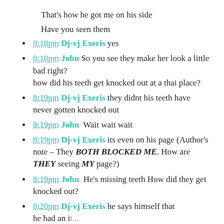That's how he got me on his side
Have you seen them
8:18pm Dj-vj Exeris yes
8:18pm John So you see they make her look a little bad right? how did his teeth get knocked out at a thai place?
8:19pm Dj-vj Exeris they didnt his teeth have never gotten knocked out
8:19pm John  Wait wait wait
8:19pm Dj-vj Exeris its even on his page (Author's note – They BOTH BLOCKED ME. How are THEY seeing MY page?)
8:19pm John  He's missing teeth How did they get knocked out?
8:20pm Dj-vj Exeris he says himself that he had an issue